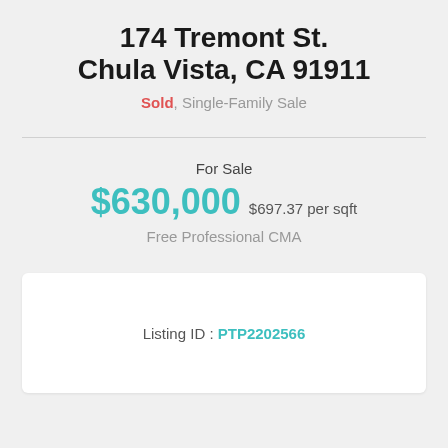174 Tremont St. Chula Vista, CA 91911
Sold, Single-Family Sale
For Sale
$630,000 $697.37 per sqft
Free Professional CMA
Listing ID : PTP2202566